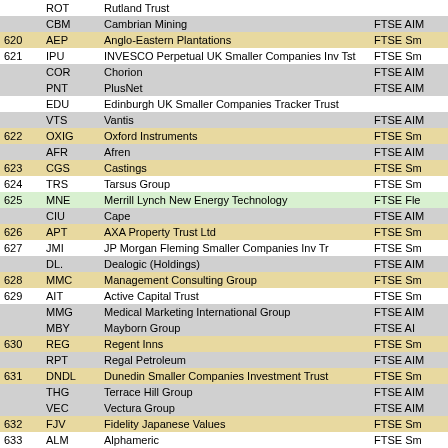|  | Ticker | Name | Index |
| --- | --- | --- | --- |
|  | ROT | Rutland Trust |  |
|  | CBM | Cambrian Mining | FTSE AIM |
| 620 | AEP | Anglo-Eastern Plantations | FTSE Sm |
| 621 | IPU | INVESCO Perpetual UK Smaller Companies Inv Tst | FTSE Sm |
|  | COR | Chorion | FTSE AIM |
|  | PNT | PlusNet | FTSE AIM |
|  | EDU | Edinburgh UK Smaller Companies Tracker Trust |  |
|  | VTS | Vantis | FTSE AIM |
| 622 | OXIG | Oxford Instruments | FTSE Sm |
|  | AFR | Afren | FTSE AIM |
| 623 | CGS | Castings | FTSE Sm |
| 624 | TRS | Tarsus Group | FTSE Sm |
| 625 | MNE | Merrill Lynch New Energy Technology | FTSE Fle |
|  | CIU | Cape | FTSE AIM |
| 626 | APT | AXA Property Trust Ltd | FTSE Sm |
| 627 | JMI | JP Morgan Fleming Smaller Companies Inv Tr | FTSE Sm |
|  | DL. | Dealogic (Holdings) | FTSE AIM |
| 628 | MMC | Management Consulting Group | FTSE Sm |
| 629 | AIT | Active Capital Trust | FTSE Sm |
|  | MMG | Medical Marketing International Group | FTSE AIM |
|  | MBY | Mayborn Group | FTSE AI |
| 630 | REG | Regent Inns | FTSE Sm |
|  | RPT | Regal Petroleum | FTSE AIM |
| 631 | DNDL | Dunedin Smaller Companies Investment Trust | FTSE Sm |
|  | THG | Terrace Hill Group | FTSE AIM |
|  | VEC | Vectura Group | FTSE AIM |
| 632 | FJV | Fidelity Japanese Values | FTSE Sm |
| 633 | ALM | Alphameric | FTSE Sm |
|  | CRS | CRL Resources | FTSE AIM |